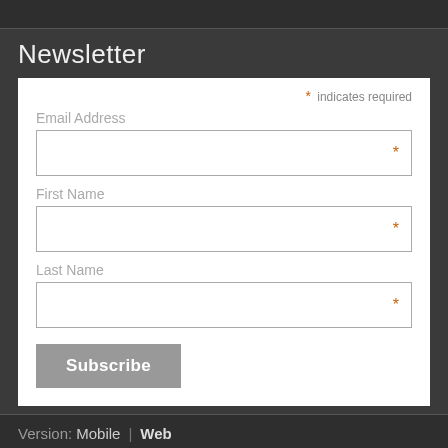Newsletter
* indicates required
Email Address *
First Name *
Last Name *
Subscribe
Version: Mobile | Web
Created with Weebly  Get the App